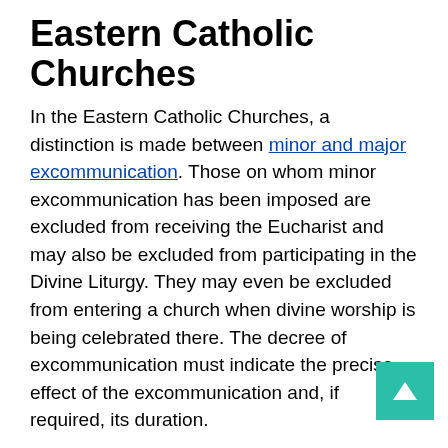Eastern Catholic Churches
In the Eastern Catholic Churches, a distinction is made between minor and major excommunication. Those on whom minor excommunication has been imposed are excluded from receiving the Eucharist and may also be excluded from participating in the Divine Liturgy. They may even be excluded from entering a church when divine worship is being celebrated there. The decree of excommunication must indicate the precise effect of the excommunication and, if required, its duration.
Roman Catholic Church
In modern times, the Roman Catholic practice of excommunication is treated as a "medicinal